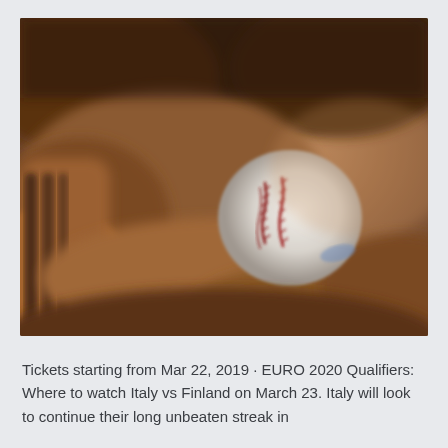[Figure (photo): Close-up blurred photo of a hand holding a baseball with red stitching visible, warm brown tones throughout]
Tickets starting from Mar 22, 2019 · EURO 2020 Qualifiers: Where to watch Italy vs Finland on March 23. Italy will look to continue their long unbeaten streak in